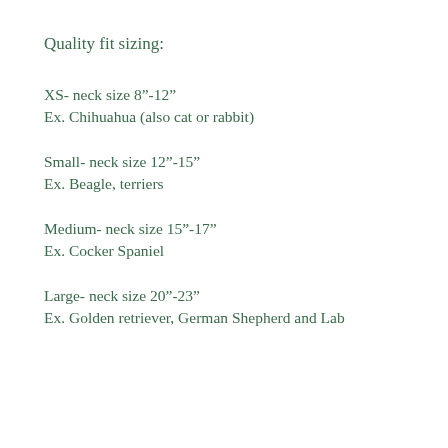Quality fit sizing:
XS- neck size 8"-12"
Ex. Chihuahua (also cat or rabbit)
Small- neck size 12"-15"
Ex. Beagle, terriers
Medium- neck size 15"-17"
Ex. Cocker Spaniel
Large- neck size 20"-23"
Ex. Golden retriever, German Shepherd and Lab